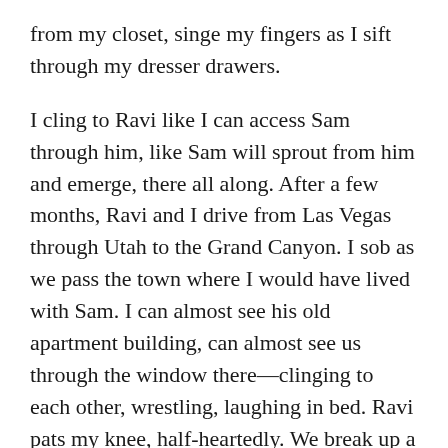from my closet, singe my fingers as I sift through my dresser drawers.
I cling to Ravi like I can access Sam through him, like Sam will sprout from him and emerge, there all along. After a few months, Ravi and I drive from Las Vegas through Utah to the Grand Canyon. I sob as we pass the town where I would have lived with Sam. I can almost see his old apartment building, can almost see us through the window there—clinging to each other, wrestling, laughing in bed. Ravi pats my knee, half-heartedly. We break up a week later.
With David I think I have truly found Sam's double, his ghost. On our first date I can't believe the way he laughs, looking off to the side, nodding his head as if to say, “I've never heard anything so true.” It is just like Sam's, the laugh, the gesture, the look of f